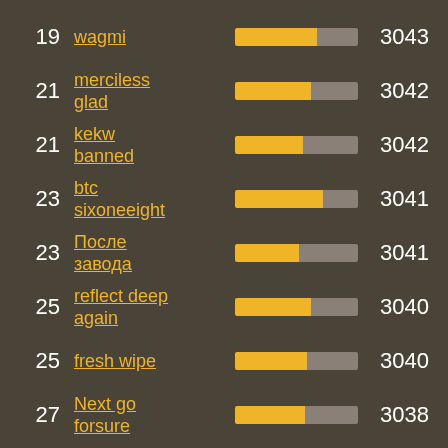[Figure (bar-chart): Leaderboard rankings]